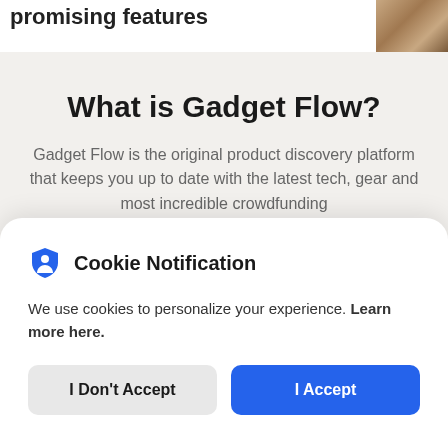promising features
[Figure (photo): Partial photo of an animal (likely a cat or dog) in the top-right corner]
What is Gadget Flow?
Gadget Flow is the original product discovery platform that keeps you up to date with the latest tech, gear and most incredible crowdfunding
Cookie Notification
We use cookies to personalize your experience. Learn more here.
I Don't Accept
I Accept